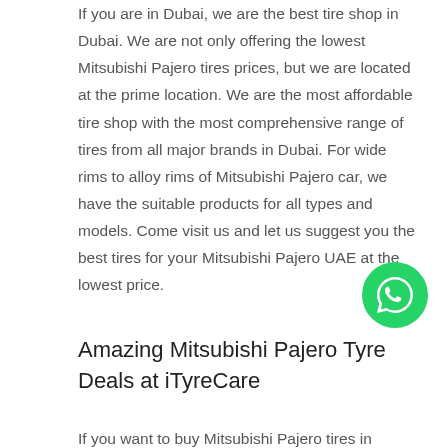If you are in Dubai, we are the best tire shop in Dubai. We are not only offering the lowest Mitsubishi Pajero tires prices, but we are located at the prime location. We are the most affordable tire shop with the most comprehensive range of tires from all major brands in Dubai. For wide rims to alloy rims of Mitsubishi Pajero car, we have the suitable products for all types and models. Come visit us and let us suggest you the best tires for your Mitsubishi Pajero UAE at the lowest price.
[Figure (other): WhatsApp contact button — green circle with white WhatsApp phone/speech-bubble icon]
Amazing Mitsubishi Pajero Tyre Deals at iTyreCare
If you want to buy Mitsubishi Pajero tires in